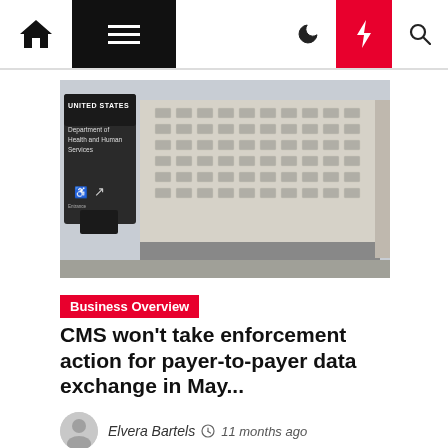Navigation bar with home, menu, moon, bolt, search icons
[Figure (photo): Exterior photo of the United States Department of Health and Human Services building with a large dark sign in the foreground reading 'UNITED STATES Department of Health and Human Services' with accessibility and entrance icons at the bottom.]
Business Overview
CMS won't take enforcement action for payer-to-payer data exchange in May...
Elvera Bartels  11 months ago